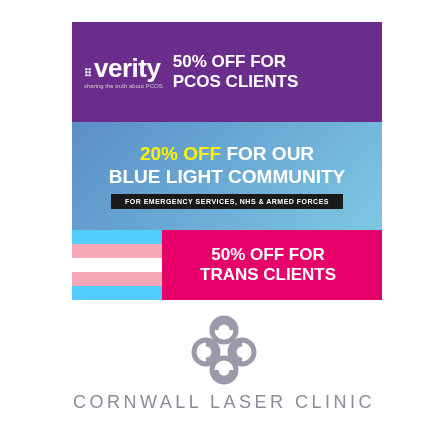[Figure (infographic): Verity PCOS brand advertisement with three sections: purple top with Verity logo and '50% OFF FOR PCOS CLIENTS', blue middle with '20% OFF FOR OUR BLUE LIGHT COMMUNITY' and subtitle 'FOR EMERGENCY SERVICES, NHS & ARMED FORCES', and pink bottom with transgender flag and '50% OFF FOR TRANS CLIENTS'.]
[Figure (logo): Cornwall Laser Clinic logo: grey interlocking circles/knot icon above the clinic name text 'CORNWALL LASER CLINIC' in spaced grey capitals.]